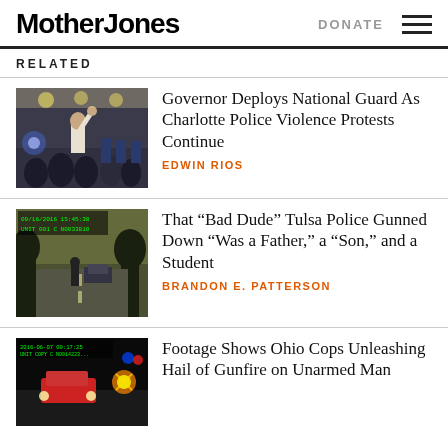Mother Jones | DONATE
RELATED
[Figure (photo): Protesters in an indoor space, one person raising hand, police officers in background]
Governor Deploys National Guard As Charlotte Police Violence Protests Continue
EDWIN RIOS
[Figure (photo): Dashcam or security camera footage of a road at dusk with a person and vehicle visible, timestamp overlay visible]
That “Bad Dude” Tulsa Police Gunned Down “Was a Father,” a “Son,” and a Student
BRANDON E. PATTERSON
[Figure (photo): Dashcam footage at night showing a car and gunfire or police lights, timestamp overlay visible]
Footage Shows Ohio Cops Unleashing Hail of Gunfire on Unarmed Man